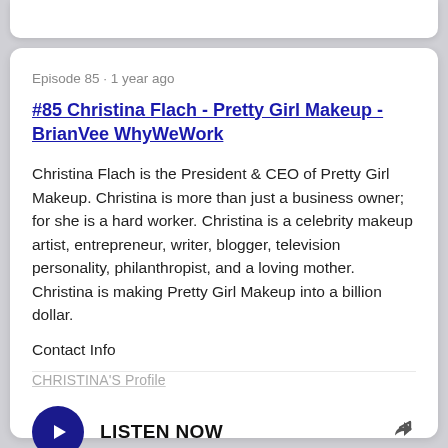Episode 85 · 1 year ago
#85 Christina Flach - Pretty Girl Makeup - BrianVee WhyWeWork
Christina Flach is the President & CEO of Pretty Girl Makeup. Christina is more than just a business owner; for she is a hard worker. Christina is a celebrity makeup artist, entrepreneur, writer, blogger, television personality, philanthropist, and a loving mother. Christina is making Pretty Girl Makeup into a billion dollar.
Contact Info
CHRISTINA'S Profile
LISTEN NOW